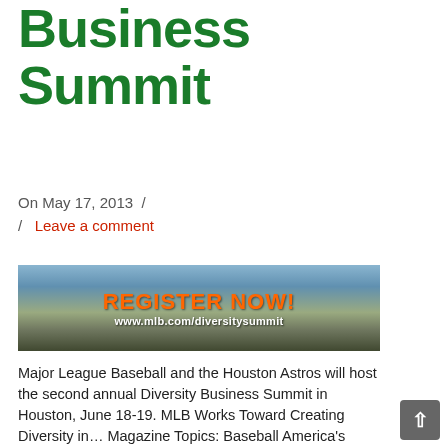Business Summit
On May 17, 2013  /  / Leave a comment
[Figure (photo): MLB Diversity Business Summit banner: REGISTER NOW! www.mlb.com/diversitysummit — shows a baseball stadium with orange text on dark background]
Major League Baseball and the Houston Astros will host the second annual Diversity Business Summit in Houston, June 18-19. MLB Works Toward Creating Diversity in… Magazine Topics: Baseball America's Pastime Hall of Fame Enshrinement